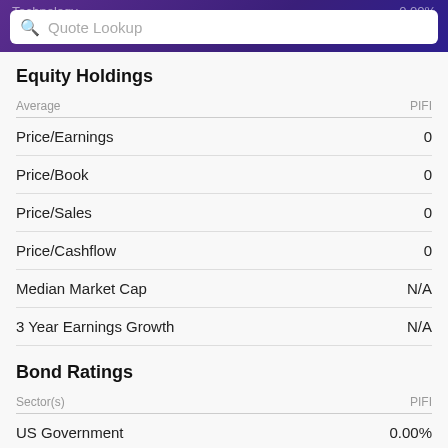Technology   0.00%
Equity Holdings
| Average | PIFI |
| --- | --- |
| Price/Earnings | 0 |
| Price/Book | 0 |
| Price/Sales | 0 |
| Price/Cashflow | 0 |
| Median Market Cap | N/A |
| 3 Year Earnings Growth | N/A |
Bond Ratings
| Sector(s) | PIFI |
| --- | --- |
| US Government | 0.00% |